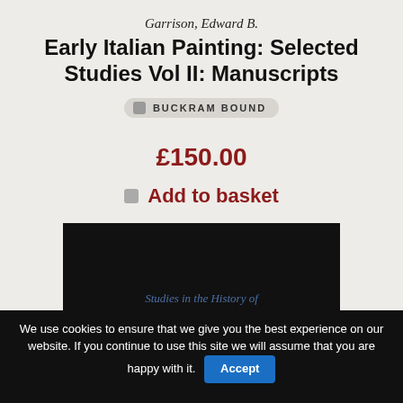Garrison, Edward B.
Early Italian Painting: Selected Studies Vol II: Manuscripts
BUCKRAM BOUND
£150.00
Add to basket
[Figure (photo): Black background book cover area showing partial text 'Studies in the History of']
We use cookies to ensure that we give you the best experience on our website. If you continue to use this site we will assume that you are happy with it. Accept